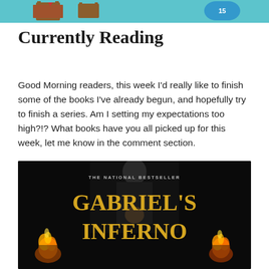[Figure (illustration): Decorative top banner with teal/turquoise background showing partial book-related imagery]
Currently Reading
Good Morning readers, this week I'd really like to finish some of the books I've already begun, and hopefully try to finish a series. Am I setting my expectations too high?!? What books have you all picked up for this week, let me know in the comment section.
[Figure (photo): Book cover of Gabriel's Inferno — The National Bestseller. Dark background showing a man in a suit with a woman, with fire/flames at the bottom left and right. Large gold serif text reads GABRIEL'S INFERNO.]